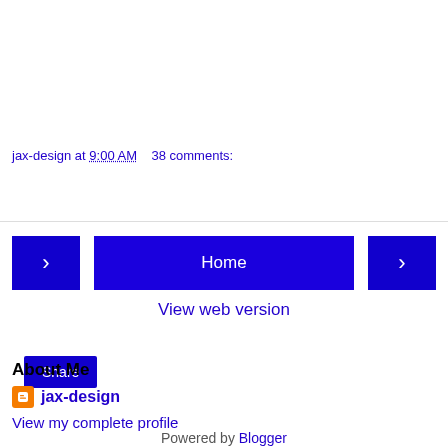jax-design at 9:00 AM    38 comments:
Share
‹  Home  ›
View web version
About Me
jax-design
View my complete profile
Powered by Blogger